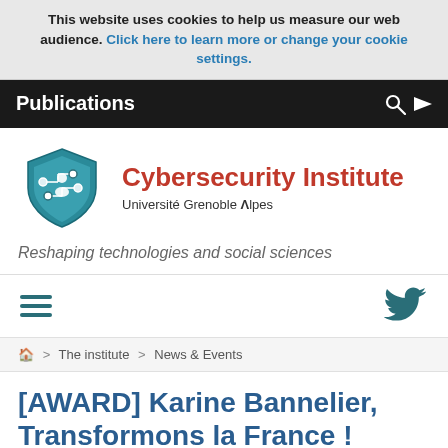This website uses cookies to help us measure our web audience. Click here to learn more or change your cookie settings.
Publications
[Figure (logo): Cybersecurity Institute shield logo with teal/blue color and circuit pattern]
Cybersecurity Institute
Université Grenoble Alpes
Reshaping technologies and social sciences
[Figure (illustration): Hamburger menu icon (three horizontal teal lines) on left, Twitter bird icon on right]
Home > The institute > News & Events
[AWARD] Karine Bannelier, Transformons la France !